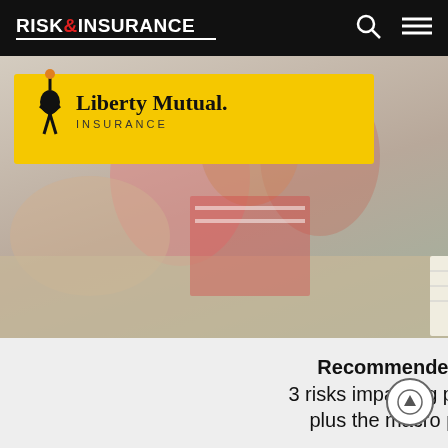RISK & INSURANCE
[Figure (photo): Advertisement overlay showing Liberty Mutual Insurance logo on yellow badge over a classroom/students photo. Below is a recommendation panel with text and a teal 'Read report' button.]
ion's interact, see the
, has also bsite which e to y as a a seme e of the
Recommended for you:
3 risks impacting public entities, plus the macro perspective
The Liberty Mutual risk trend report provides in-depth analysis of three risks currently impacting the industry
Read report